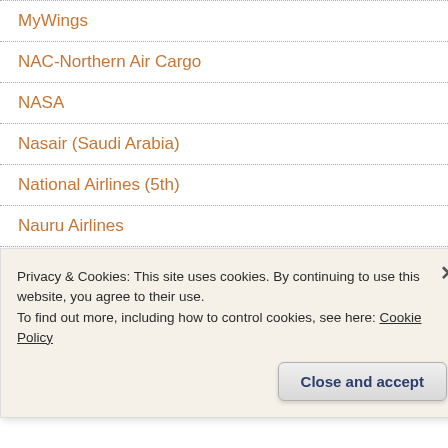MyWings
NAC-Northern Air Cargo
NASA
Nasair (Saudi Arabia)
National Airlines (5th)
Nauru Airlines
NCA-Nippon Cargo Airlines
Neos
Nepal Airlines
Privacy & Cookies: This site uses cookies. By continuing to use this website, you agree to their use.
To find out more, including how to control cookies, see here: Cookie Policy
Close and accept